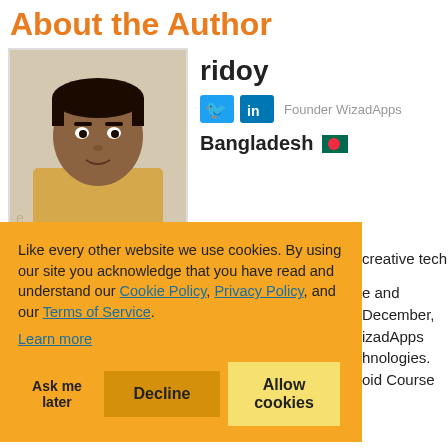About the Author
[Figure (photo): Author photo of ridoy, a man in a light yellow shirt]
ridoy
Founder WizadApps
Bangladesh 🇧🇩
Like every other website we use cookies. By using our site you acknowledge that you have read and understand our Cookie Policy, Privacy Policy, and our Terms of Service. Learn more
Ask me later   Decline   Allow cookies
creative tech
e and December, izadApps hnologies. oid Course
Training Co-ordinator of GDG Dhaka. Has interest